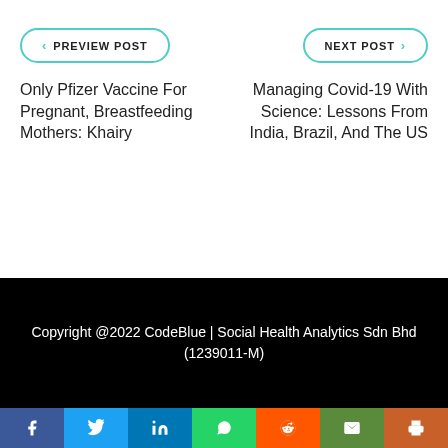< PREVIEW POST
NEXT POST >
Only Pfizer Vaccine For Pregnant, Breastfeeding Mothers: Khairy
Managing Covid-19 With Science: Lessons From India, Brazil, And The US
Copyright @2022 CodeBlue | Social Health Analytics Sdn Bhd (1239011-M)